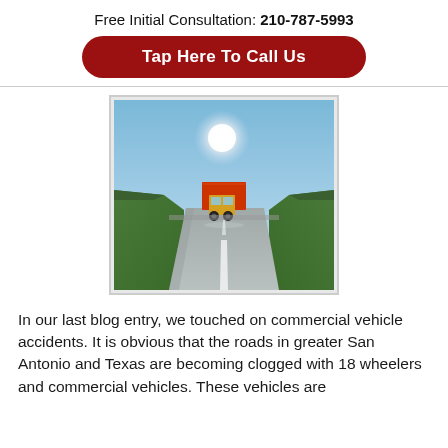Free Initial Consultation: 210-787-5993
Tap Here To Call Us
[Figure (photo): A red commercial truck/18-wheeler driving on a highway road with green hills on either side, under a bright sunny sky.]
In our last blog entry, we touched on commercial vehicle accidents. It is obvious that the roads in greater San Antonio and Texas are becoming clogged with 18 wheelers and commercial vehicles. These vehicles are